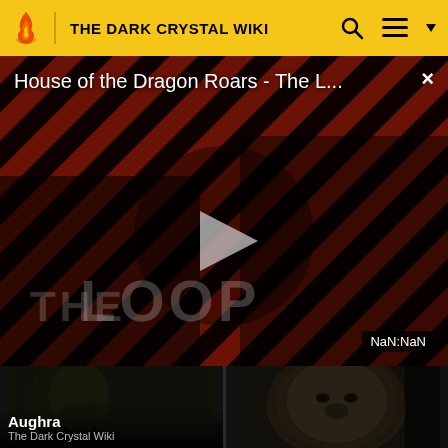THE DARK CRYSTAL WIKI
[Figure (screenshot): Video player showing 'House of the Dragon Roars - The L...' with a play button, striped red/black background with figures, 'THE LOOP' text watermark, and 'NaN:NaN' timestamp in bottom right. Close button (X) in top right.]
[Figure (photo): Two dark fantasy artwork thumbnail images side by side. Left thumbnail shows a creature/dragon in a dark forest setting with 'Aughra / The Dark Crystal Wiki' label. Right thumbnail shows a close-up of a lion-like creature face.]